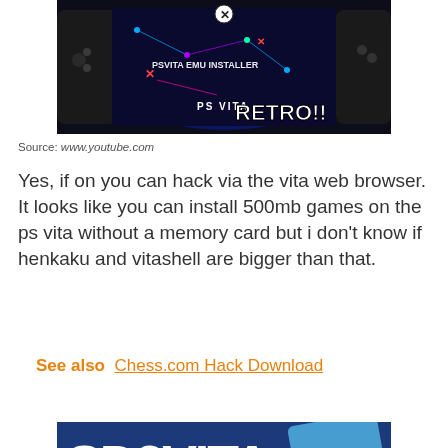[Figure (photo): A PS Vita handheld gaming console showing a blue screen with constellation-like graphics and 'PSVITA EMU INSTALLER' text, with bold white text 'RETRO!!' overlaid on the lower right corner, and a circular X button at the top.]
Source: www.youtube.com
Yes, if on you can hack via the vita web browser. It looks like you can install 500mb games on the ps vita without a memory card but i don't know if henkaku and vitashell are bigger than that.
See also  Chess.com Hack Download
[Figure (photo): A gaming accessory or cartridge with 'SD2VITA' text on a dark background with blue elements, a circular X button, and colorful tilted card graphics on the right side.]